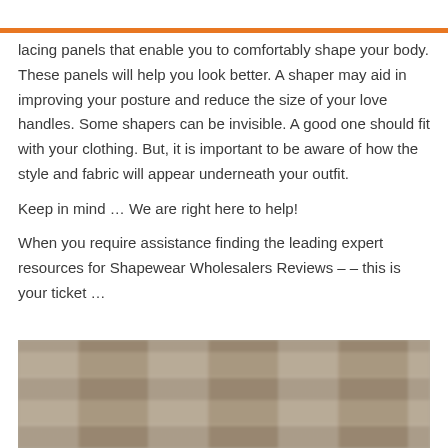lacing panels that enable you to comfortably shape your body. These panels will help you look better. A shaper may aid in improving your posture and reduce the size of your love handles. Some shapers can be invisible. A good one should fit with your clothing. But, it is important to be aware of how the style and fabric will appear underneath your outfit.

Keep in mind … We are right here to help!

When you require assistance finding the leading expert resources for Shapewear Wholesalers Reviews – – this is your ticket …
[Figure (photo): Blurred photo of warehouse shelves stacked with boxes/packages, seen from the front.]